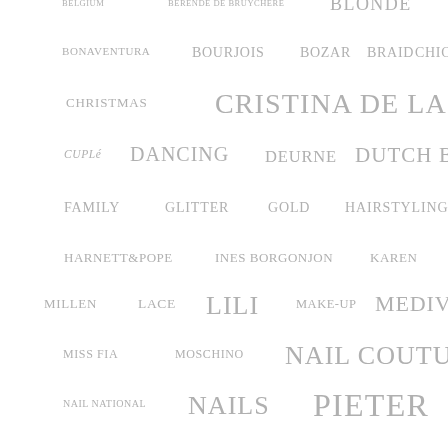BELGIUM   BERENDE DE BRUYCHERE   BLONDE
BONAVENTURA   BOURJOIS   BOZAR   BRAID   CHICKEN
CHRISTMAS   CRISTINA DE LA MADERA
CUPLÉ   DANCING   DEURNE   DUTCH BRAID
FAMILY   GLITTER   GOLD   HAIRSTYLING
HARNETT&POPE   INES BORGONJON   KAREN
MILLEN   LACE   LILI   MAKE-UP   MEDIVEN
MISS FIA   MOSCHINO   NAIL COUTURE 43
NAIL NATIONAL   NAILS   PIETER